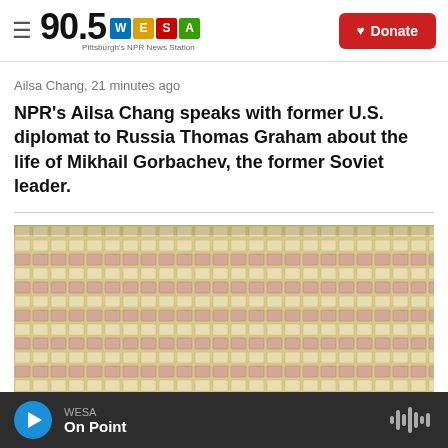90.5 WESA Pittsburgh's NPR News Station
Ailsa Chang,  21 minutes ago
NPR's Ailsa Chang speaks with former U.S. diplomat to Russia Thomas Graham about the life of Mikhail Gorbachev, the former Soviet leader.
[Figure (photo): Close-up photograph of stacked square/rectangular tiles or bricks arranged in rows, light yellow and pink/mauve tones, suggesting a mosaic or building material stockpile.]
WESA  On Point